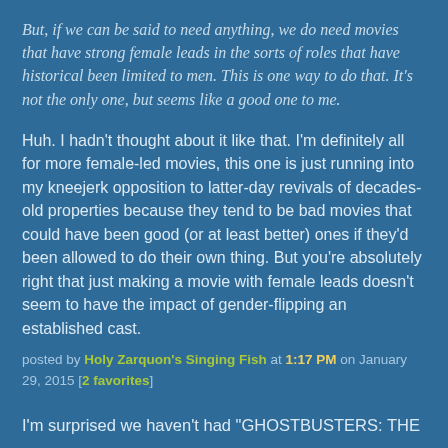But, if we can be said to need anything, we do need movies that have strong female leads in the sorts of roles that have historical been limited to men. This is one way to do that. It's not the only one, but seems like a good one to me.
Huh. I hadn't thought about it like that. I'm definitely all for more female-led movies, this one is just running into my kneejerk opposition to latter-day revivals of decades-old properties because they tend to be bad movies that could have been good (or at least better) ones if they'd been allowed to do their own thing. But you're absolutely right that just making a movie with female leads doesn't seem to have the impact of gender-flipping an established cast.
posted by Holy Zarquon's Singing Fish at 1:17 PM on January 29, 2015 [2 favorites]
I'm surprised we haven't had "GHOSTBUSTERS: THE